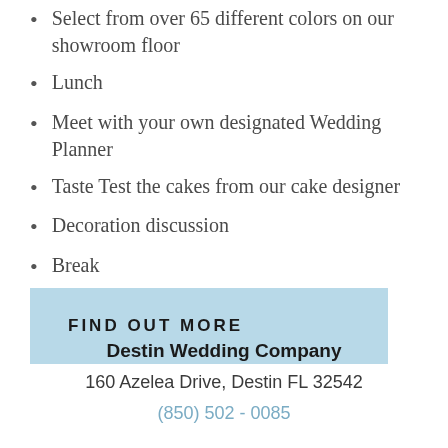Select from over 65 different colors on our showroom floor
Lunch
Meet with your own designated Wedding Planner
Taste Test the cakes from our cake designer
Decoration discussion
Break
Dinner where you will taste the food
FIND OUT MORE
Destin Wedding Company
160 Azelea Drive, Destin FL 32542
(850) 502 - 0085